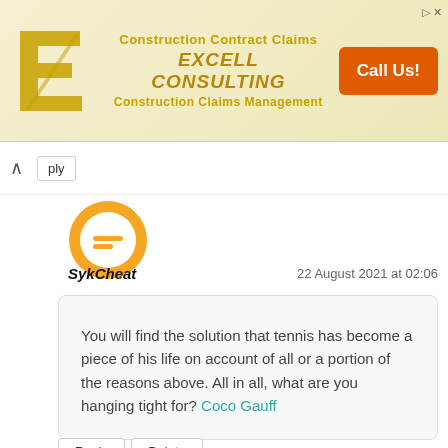[Figure (screenshot): Advertisement banner for Excell Consulting - Construction Contract Claims with orange Call Us button]
Reply
[Figure (logo): Orange Blogger avatar icon circle with equals sign]
SykCheat
22 August 2021 at 02:06
You will find the solution that tennis has become a piece of his life on account of all or a portion of the reasons above. All in all, what are you hanging tight for? Coco Gauff
Reply
Delete
Reply
[Figure (logo): Orange Blogger avatar icon circle with equals sign (bottom)]